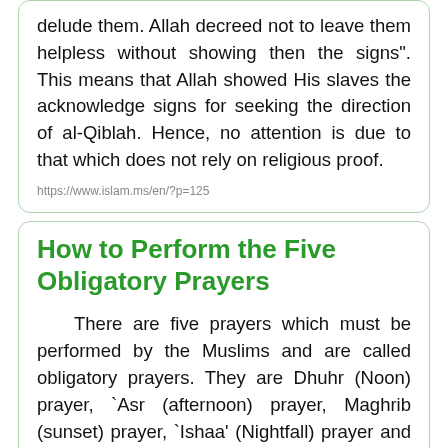delude them. Allah decreed not to leave them helpless without showing then the signs". This means that Allah showed His slaves the acknowledge signs for seeking the direction of al-Qiblah. Hence, no attention is due to that which does not rely on religious proof.
https://www.islam.ms/en/?p=125
How to Perform the Five Obligatory Prayers
There are five prayers which must be performed by the Muslims and are called obligatory prayers. They are Dhuhr (Noon) prayer, `Asr (afternoon) prayer, Maghrib (sunset) prayer, `Ishaa' (Nightfall) prayer and Fajr (Dawn) prayer. It is a great sin to neglect